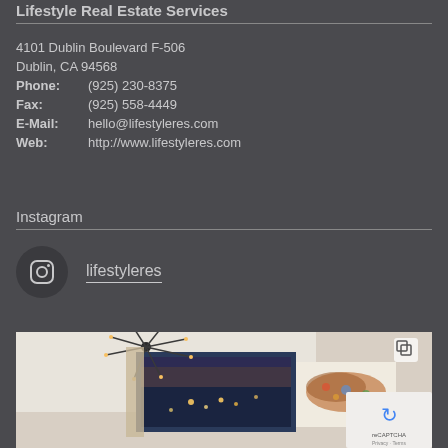Lifestyle Real Estate Services
4101 Dublin Boulevard F-506
Dublin, CA 94568
Phone:   (925) 230-8375
Fax:     (925) 558-4449
E-Mail:  hello@lifestyleres.com
Web:     http://www.lifestyleres.com
Instagram
lifestyleres
[Figure (photo): Interior room photo showing a sputnik chandelier with Edison bulbs above a window overlooking a lit cityscape at dusk, with a colorful US map artwork on the wall]